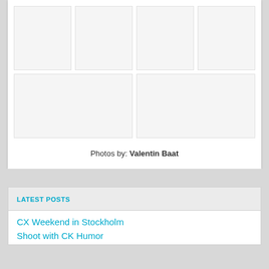[Figure (photo): Grid of 6 blank/white photo placeholder cells arranged in two rows: top row has 4 cells, bottom row has 2 cells]
Photos by: Valentin Baat
LATEST POSTS
CX Weekend in Stockholm
Shoot with CK Humor